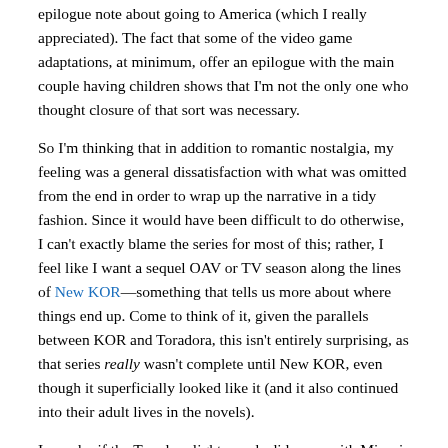epilogue note about going to America (which I really appreciated). The fact that some of the video game adaptations, at minimum, offer an epilogue with the main couple having children shows that I'm not the only one who thought closure of that sort was necessary.
So I'm thinking that in addition to romantic nostalgia, my feeling was a general dissatisfaction with what was omitted from the end in order to wrap up the narrative in a tidy fashion. Since it would have been difficult to do otherwise, I can't exactly blame the series for most of this; rather, I feel like I want a sequel OAV or TV season along the lines of New KOR—something that tells us more about where things end up. Come to think of it, given the parallels between KOR and Toradora, this isn't entirely surprising, as that series really wasn't complete until New KOR, even though it superficially looked like it (and it also continued into their adult lives in the novels).
I wonder if the Toradora light novels did more with Minori and Ami, and/or give some more details about life-after-school.
In Closing
There was an obvious pattern I noticed in these examples; the things that really got under my skin all featured characters I got attached to in one way or another, and all related in some way to either people confronting and overcoming major personal issues, unlikely romances, or both. The former is no surprise—apart from hard sci-fi or action, most